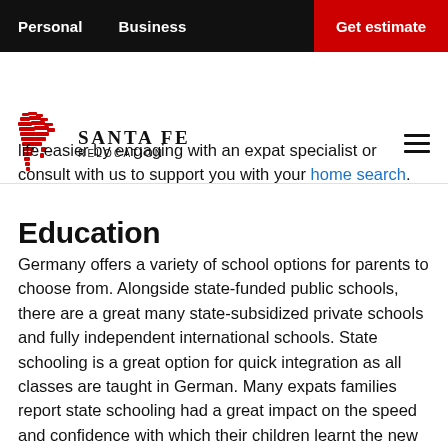Personal   Business   Get estimate
[Figure (logo): Santa Fe Relocation logo with red horse icon and company name]
life easier by engaging with an expat specialist or consult with us to support you with your home search.
Education
Germany offers a variety of school options for parents to choose from. Alongside state-funded public schools, there are a great many state-subsidized private schools and fully independent international schools. State schooling is a great option for quick integration as all classes are taught in German. Many expats families report state schooling had a great impact on the speed and confidence with which their children learnt the new host country's language. International schools offer